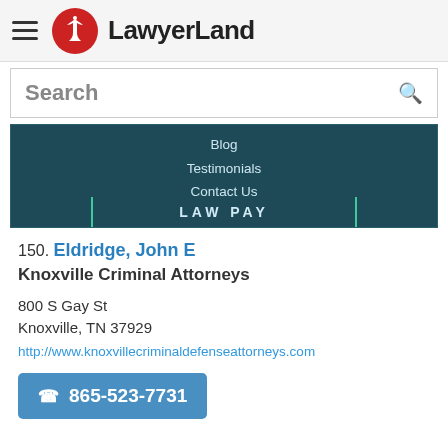LawyerLand
Search
[Figure (screenshot): Dark teal navigation menu showing Blog, Testimonials, Contact Us links and a LAW PAY bar at bottom]
150. Eldridge, John E
Knoxville Criminal Attorneys
800 S Gay St
Knoxville, TN 37929
http://www.knoxvillecriminaldefenseattorneys.com
865-523-7731